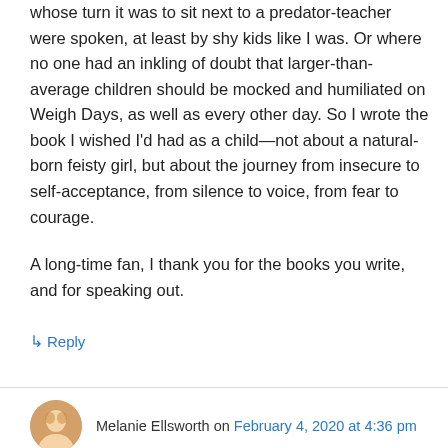whose turn it was to sit next to a predator-teacher were spoken, at least by shy kids like I was. Or where no one had an inkling of doubt that larger-than-average children should be mocked and humiliated on Weigh Days, as well as every other day. So I wrote the book I wished I'd had as a child—not about a natural-born feisty girl, but about the journey from insecure to self-acceptance, from silence to voice, from fear to courage.

A long-time fan, I thank you for the books you write, and for speaking out.
↳ Reply
Melanie Ellsworth on February 4, 2020 at 4:36 pm